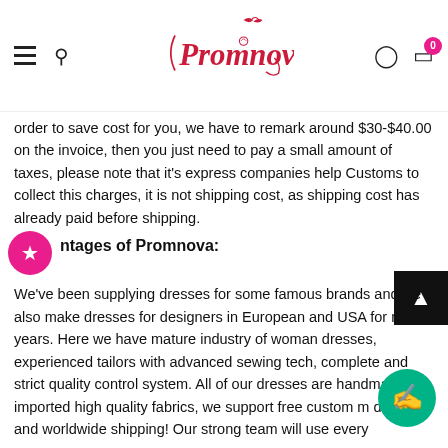Promnova — navigation bar with hamburger menu, search, logo, account, and cart icons
order to save cost for you, we have to remark around $30-$40.00 on the invoice, then you just need to pay a small amount of taxes, please note that it's express companies help Customs to collect this charges, it is not shipping cost, as shipping cost has already paid before shipping.
ntages of Promnova:
We've been supplying dresses for some famous brands and we also make dresses for designers in European and USA for many years. Here we have mature industry of woman dresses, experienced tailors with advanced sewing tech, complete and strict quality control system. All of our dresses are handmade imported high quality fabrics, we support free custom m dresses and worldwide shipping! Our strong team will use every